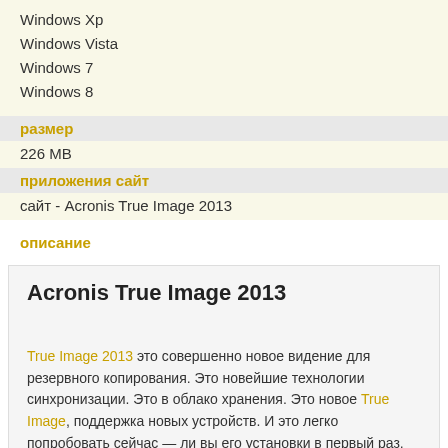Windows Xp
Windows Vista
Windows 7
Windows 8
размер
226 MB
приложения сайт
сайт - Acronis True Image 2013
описание
Acronis True Image 2013
True Image 2013 это совершенно новое видение для резервного копирования. Это новейшие технологии синхронизации. Это в облако хранения. Это новое True Image, поддержка новых устройств. И это легко попробовать сейчас — ли вы его установки в первый раз, или обновление с предыдущей версии.
True Image 2013, Acronis защищает ваши фотографии, документов,